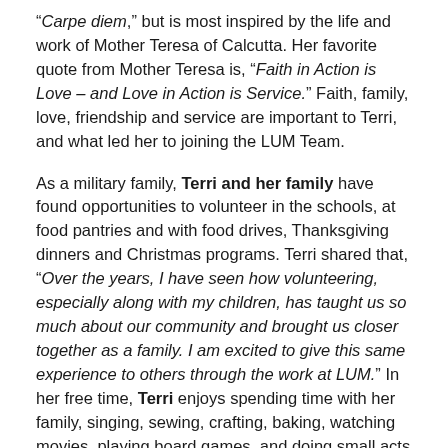“Carpe diem,” but is most inspired by the life and work of Mother Teresa of Calcutta. Her favorite quote from Mother Teresa is, “Faith in Action is Love – and Love in Action is Service.” Faith, family, love, friendship and service are important to Terri, and what led her to joining the LUM Team.
As a military family, Terri and her family have found opportunities to volunteer in the schools, at food pantries and with food drives, Thanksgiving dinners and Christmas programs. Terri shared that, “Over the years, I have seen how volunteering, especially along with my children, has taught us so much about our community and brought us closer together as a family. I am excited to give this same experience to others through the work at LUM.” In her free time, Terri enjoys spending time with her family, singing, sewing, crafting, baking, watching movies, playing board games, and doing small acts of kindness for others.